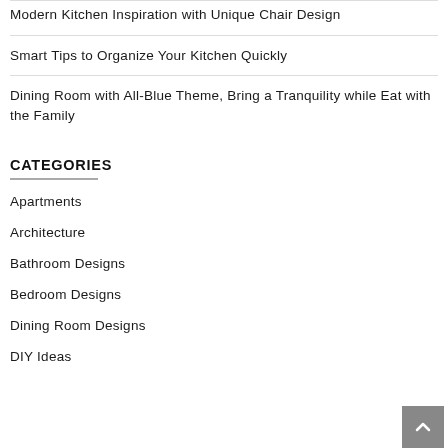Modern Kitchen Inspiration with Unique Chair Design
Smart Tips to Organize Your Kitchen Quickly
Dining Room with All-Blue Theme, Bring a Tranquility while Eat with the Family
CATEGORIES
Apartments
Architecture
Bathroom Designs
Bedroom Designs
Dining Room Designs
DIY Ideas